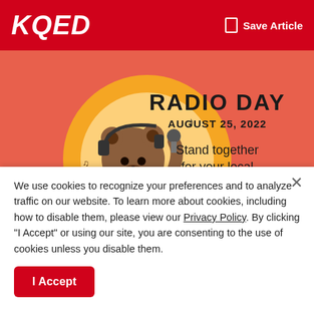KQED   Save Article
[Figure (illustration): Radio Day August 25, 2022 promotional banner with a cartoon bear wearing headphones holding a microphone, standing in front of a large orange moon with a red boombox. Text reads: RADIO DAY, AUGUST 25, 2022, Stand together for your local station, GIVE NOW button.]
We use cookies to recognize your preferences and to analyze traffic on our website. To learn more about cookies, including how to disable them, please view our Privacy Policy. By clicking "I Accept" or using our site, you are consenting to the use of cookies unless you disable them.
I Accept